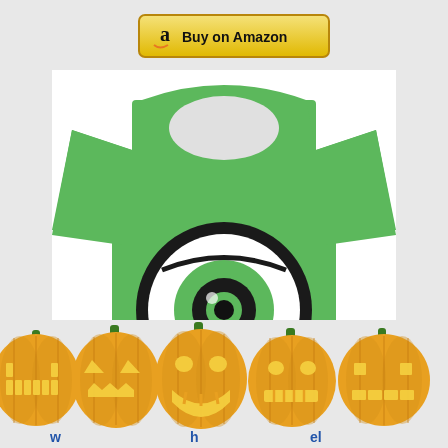[Figure (other): Amazon Buy on Amazon button with gold/yellow background]
[Figure (photo): Green Monsters Inc Mike Wazowski one-eyed face t-shirt on white background]
[Figure (illustration): Row of five glowing jack-o-lantern pumpkins with various carved faces at the bottom of the page]